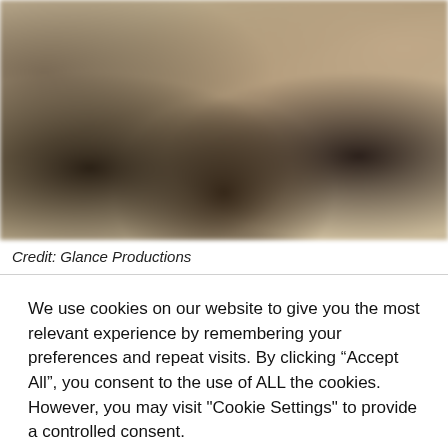[Figure (photo): Blurred/out-of-focus photograph showing figures in a warm-toned indoor setting]
Credit: Glance Productions
We use cookies on our website to give you the most relevant experience by remembering your preferences and repeat visits. By clicking “Accept All”, you consent to the use of ALL the cookies. However, you may visit "Cookie Settings" to provide a controlled consent.
Cookie Settings | Accept All